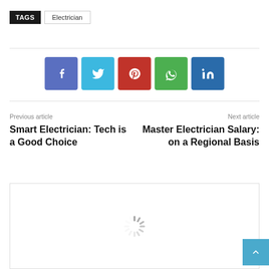TAGS  Electrician
[Figure (infographic): Social share buttons: Facebook (blue-purple), Twitter (light blue), Pinterest (red), WhatsApp (green), LinkedIn (dark blue)]
Previous article
Smart Electrician: Tech is a Good Choice
Next article
Master Electrician Salary: on a Regional Basis
[Figure (other): Loading spinner in a bordered box]